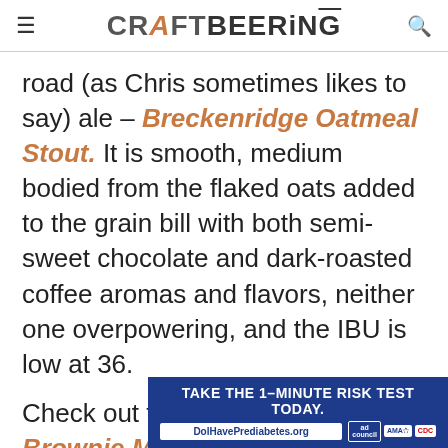CRAFTBEERING
road (as Chris sometimes likes to say) ale – Breckenridge Oatmeal Stout. It is smooth, medium bodied from the flaked oats added to the grain bill with both semi-sweet chocolate and dark-roasted coffee aromas and flavors, neither one overpowering, and the IBU is low at 36.
Check out this post for Stout Brownie Mix DIY Gift to see it.
[Figure (other): Advertisement banner: TAKE THE 1-MINUTE RISK TEST TODAY. DolHavePrediabetes.org | ad council | AMA | CDC]